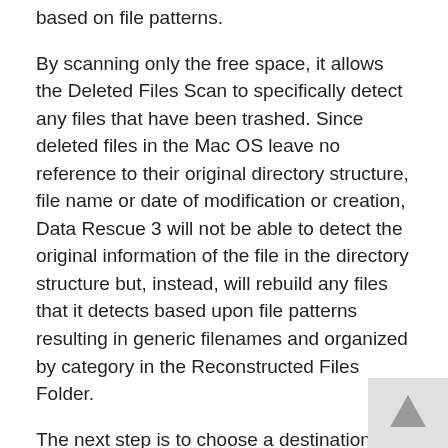based on file patterns.
By scanning only the free space, it allows the Deleted Files Scan to specifically detect any files that have been trashed. Since deleted files in the Mac OS leave no reference to their original directory structure, file name or date of modification or creation, Data Rescue 3 will not be able to detect the original information of the file in the directory structure but, instead, will rebuild any files that it detects based upon file patterns resulting in generic filenames and organized by category in the Reconstructed Files Folder.
The next step is to choose a destination, or workspace for the Data Rescue 3's file recovery system to send to. In this case, I chose the Accusys RAID which has plenty of empty space should I need to recover a large number of good sized files and media.